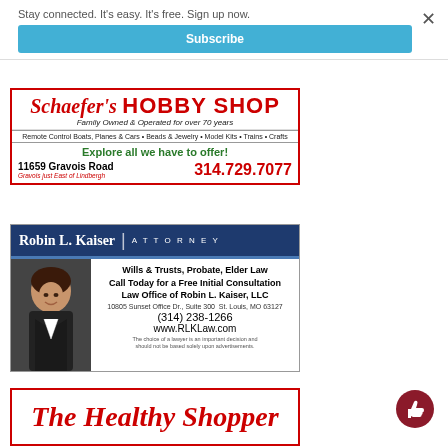Stay connected. It's easy. It's free. Sign up now.
× (close)
Subscribe
[Figure (advertisement): Schaefer's Hobby Shop advertisement. Red text logo: Schaefer's HOBBY SHOP. Italic text: Family Owned & Operated for over 70 years. Product line: Remote Control Boats, Planes & Cars • Beads & Jewelry • Model Kits • Trains • Crafts. Green text: Explore all we have to offer! Address: 11659 Gravois Road. Phone: 314.729.7077. Italic: Gravois just East of Lindbergh.]
[Figure (advertisement): Robin L. Kaiser ATTORNEY ad. Dark blue header with name and title. Photo of woman attorney on left. Text: Wills & Trusts, Probate, Elder Law. Call Today for a Free Initial Consultation. Law Office of Robin L. Kaiser, LLC. 10805 Sunset Office Dr., Suite 300  St. Louis, MO 63127. (314) 238-1266. www.RLKLaw.com. Disclaimer text at bottom.]
[Figure (advertisement): The Healthy Shopper - red italic cursive script logo on white background with red border.]